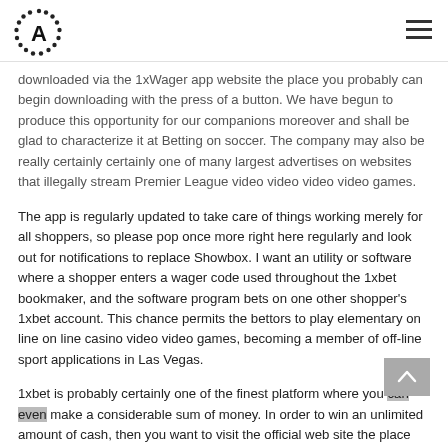A [logo] | hamburger menu
downloaded via the 1xWager app website the place you probably can begin downloading with the press of a button. We have begun to produce this opportunity for our companions moreover and shall be glad to characterize it at Betting on soccer. The company may also be really certainly certainly one of many largest advertises on websites that illegally stream Premier League video video video video games.
The app is regularly updated to take care of things working merely for all shoppers, so please pop once more right here regularly and look out for notifications to replace Showbox. I want an utility or software where a shopper enters a wager code used throughout the 1xbet bookmaker, and the software program bets on one other shopper's 1xbet account. This chance permits the bettors to play elementary on line on line casino video video games, becoming a member of off-line sport applications in Las Vegas.
1xbet is probably certainly one of the finest platform where you can even make a considerable sum of money. In order to win an unlimited amount of cash, then you want to visit the official web site the place you'll have to full